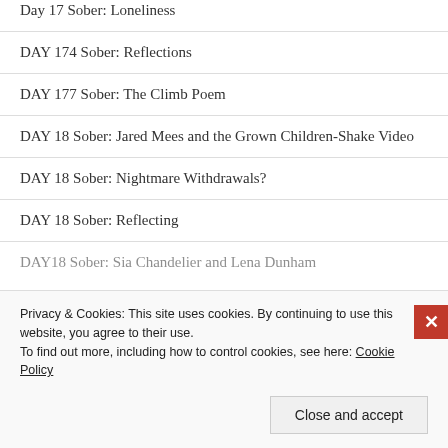Day 17 Sober: Loneliness
DAY 174 Sober: Reflections
DAY 177 Sober: The Climb Poem
DAY 18 Sober: Jared Mees and the Grown Children-Shake Video
DAY 18 Sober: Nightmare Withdrawals?
DAY 18 Sober: Reflecting
DAY18 Sober: Sia Chandelier and Lena Dunham
Privacy & Cookies: This site uses cookies. By continuing to use this website, you agree to their use. To find out more, including how to control cookies, see here: Cookie Policy
Close and accept